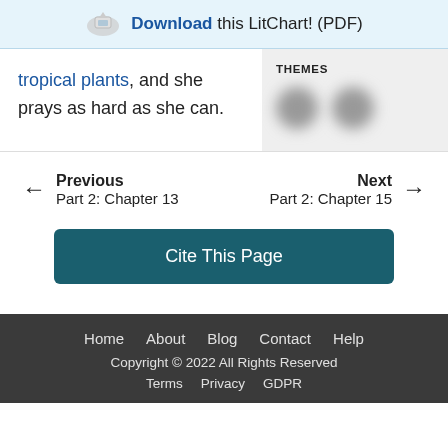Download this LitChart! (PDF)
tropical plants, and she prays as hard as she can.
THEMES
Previous
Part 2: Chapter 13
Next
Part 2: Chapter 15
Cite This Page
Home  About  Blog  Contact  Help
Copyright © 2022 All Rights Reserved
Terms  Privacy  GDPR